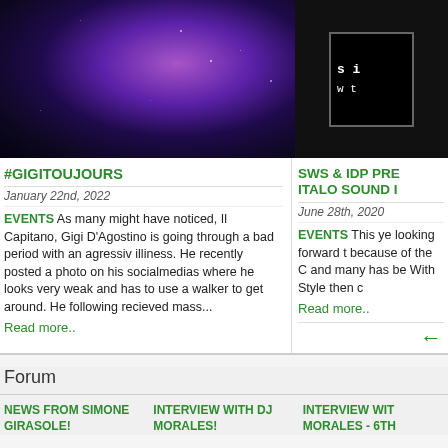[Figure (photo): Purple/blue nebula space background image, left portion]
[Figure (photo): Dark background with partial vinyl record or album cover image on right]
#GIGITOUJOURS
January 22nd, 2022
EVENTS  As many might have noticed, Il Capitano, Gigi D'Agostino is going through a bad period with an agressiv illiness. He recently posted a photo on his socialmedias where he looks very weak and has to use a walker to get around. He following recieved mass...
Read more..
SWS & IDP PRE ITALO SOUND I
June 28th, 2020
EVENTS  This ye looking forward t because of the C and many has be With Style then c
Read more..
Forum
NEWS FROM SIMONE GIRASOLE!
INTERVIEW WITH DJ MORALES!
INTERVIEW WIT MORALES - 6TH